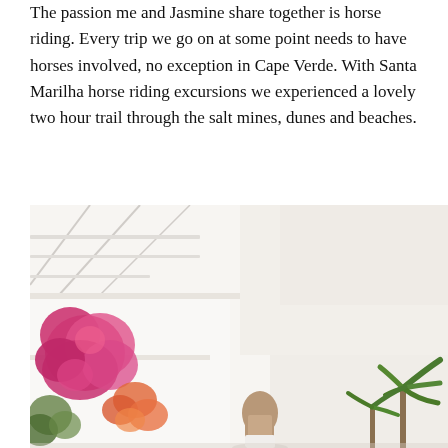The passion me and Jasmine share together is horse riding. Every trip we go on at some point needs to have horses involved, no exception in Cape Verde. With Santa Marilha horse riding excursions we experienced a lovely two hour trail through the salt mines, dunes and beaches.
Galloping on the beach is my definition of what freedom feels like.
[Figure (photo): A person with long hair viewed from behind, standing near a white building with balconies. Pink and orange bougainvillea flowers are visible on the left side. Green palm trees are visible at the bottom right. The scene appears to be a Mediterranean or resort-style setting.]